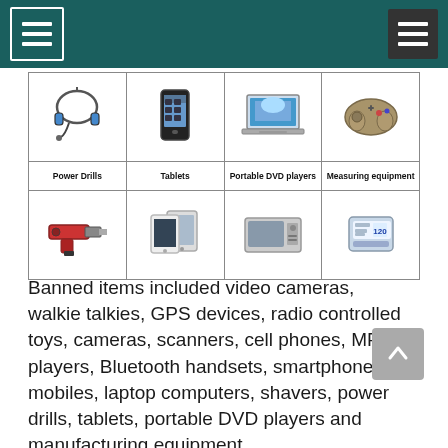Navigation header with menu icons
[Figure (table-as-image): Grid table showing electronic device categories: headset/earpiece, smartphone/phone, laptop, game controller (top row images); Power Drills, Tablets, Portable DVD players, Measuring equipment (label row); power drill, tablet devices, portable DVD player, blood pressure monitor (bottom row images)]
Banned items included video cameras, walkie talkies, GPS devices, radio controlled toys, cameras, scanners, cell phones, MP3 players, Bluetooth handsets, smartphones/mobiles, laptop computers, shavers, power drills, tablets, portable DVD players and manufacturing equipment.
The ban lifts on Nov. 15 when the USPS will